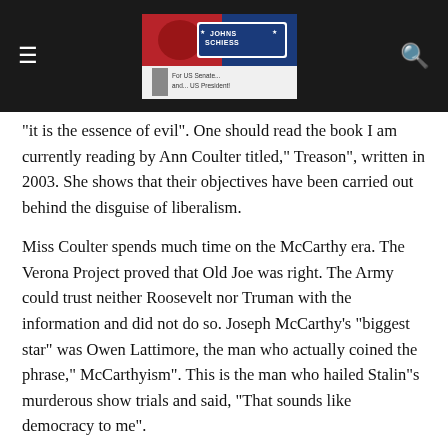[Navigation bar with hamburger menu, logo banner for Johns Schiess For US Senate and US President, and search icon]
"it is the essence of evil". One should read the book I am currently reading by Ann Coulter titled," Treason", written in 2003. She shows that their objectives have been carried out behind the disguise of liberalism.
Miss Coulter spends much time on the McCarthy era. The Verona Project proved that Old Joe was right. The Army could trust neither Roosevelt nor Truman with the information and did not do so. Joseph McCarthy's "biggest star" was Owen Lattimore, the man who actually coined the phrase," McCarthyism". This is the man who hailed Stalin"s murderous show trials and said, "That sounds like democracy to me".
Joseph Welch was famous for bringing Senator McCarthy down with the questions: "Have you no sense of decency, sir, at long last? Have you left no sense of decency?" This line came at the end of a two hour harangue of Roy Cohn